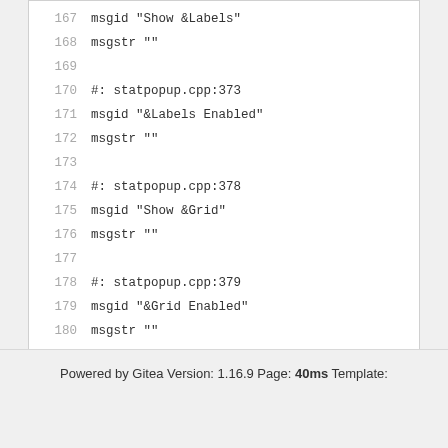167   msgid "Show &Labels"
168   msgstr ""
169
170   #: statpopup.cpp:373
171   msgid "&Labels Enabled"
172   msgstr ""
173
174   #: statpopup.cpp:378
175   msgid "Show &Grid"
176   msgstr ""
177
178   #: statpopup.cpp:379
179   msgid "&Grid Enabled"
180   msgstr ""
181
Powered by Gitea Version: 1.16.9 Page: 40ms Template: